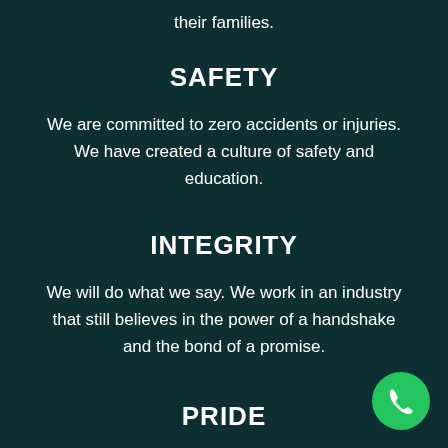their families.
SAFETY
We are committed to zero accidents or injuries. We have created a culture of safety and education.
INTEGRITY
We will do what we say. We work in an industry that still believes in the power of a handshake and the bond of a promise.
PRIDE
[Figure (illustration): Green circular phone/call button icon in the bottom-right corner]